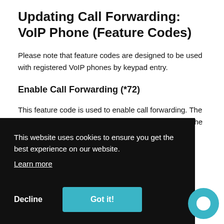Updating Call Forwarding: VoIP Phone (Feature Codes)
Please note that feature codes are designed to be used with registered VoIP phones by keypad entry.
Enable Call Forwarding (*72)
This feature code is used to enable call forwarding. The code is "*72", and when dialed, a prompt will ask for the number to forward calls to. [continues] ...number ...s read ...ser will ...hey us... ...atur... ...555-... 9/15°, which will enable call forwarding to 1-555-
This website uses cookies to ensure you get the best experience on our website. Learn more
Decline   Got it!